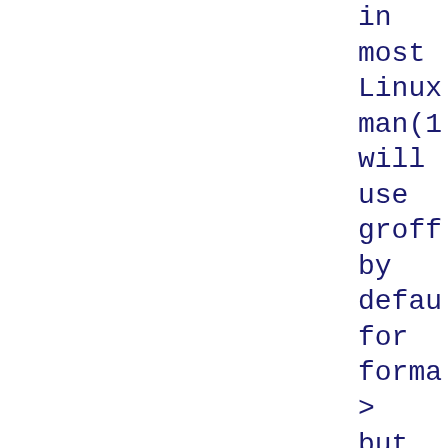in most Linux man(1 will use groff by defau for forma > but groff has been suppo mdoc( for about three decad > now.

That all sound perfe Out of